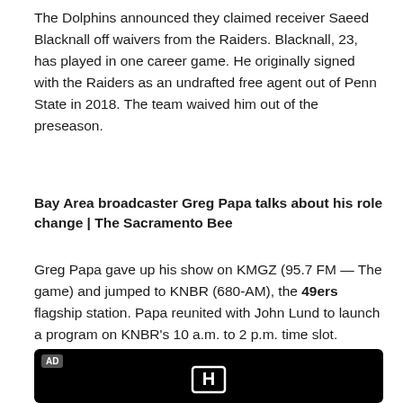The Dolphins announced they claimed receiver Saeed Blacknall off waivers from the Raiders. Blacknall, 23, has played in one career game. He originally signed with the Raiders as an undrafted free agent out of Penn State in 2018. The team waived him out of the preseason.
Bay Area broadcaster Greg Papa talks about his role change | The Sacramento Bee
Greg Papa gave up his show on KMGZ (95.7 FM — The game) and jumped to KNBR (680-AM), the 49ers flagship station. Papa reunited with John Lund to launch a program on KNBR's 10 a.m. to 2 p.m. time slot.
[Figure (other): Advertisement banner with Honda logo on black background]